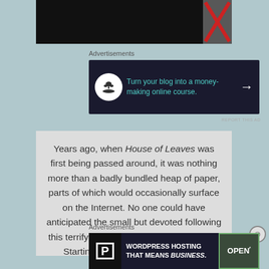[Figure (photo): Black rectangular image strip at top with a red X mark on the right side]
Advertisements
[Figure (other): Dark navy ad banner: Turn your blog into a money-making online course. with white circle icon, teal text, and right arrow]
REPORT THIS AD
Years ago, when House of Leaves was first being passed around, it was nothing more than a badly bundled heap of paper, parts of which would occasionally surface on the Internet. No one could have anticipated the small but devoted following this terrifying story would soon command. Starting with an odd assortment of marginalized youth–
Advertisements
[Figure (other): Dark navy ad banner: WordPress Hosting That Means Business, with P logo and OPEN sign photo]